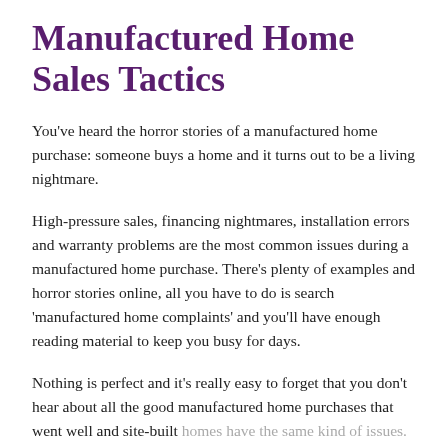Manufactured Home Sales Tactics
You've heard the horror stories of a manufactured home purchase: someone buys a home and it turns out to be a living nightmare.
High-pressure sales, financing nightmares, installation errors and warranty problems are the most common issues during a manufactured home purchase. There's plenty of examples and horror stories online, all you have to do is search 'manufactured home complaints' and you'll have enough reading material to keep you busy for days.
Nothing is perfect and it's really easy to forget that you don't hear about all the good manufactured home purchases that went well and site-built homes have the same kind of issues.